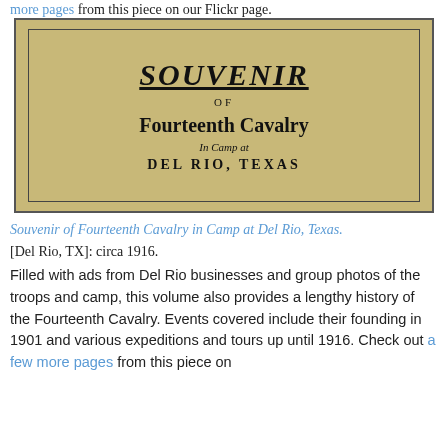more pages from this piece on our Flickr page.
[Figure (photo): Book cover of Souvenir of Fourteenth Cavalry in Camp at Del Rio, Texas. Tan/khaki colored cover with black border and text reading: SOUVENIR OF Fourteenth Cavalry In Camp at DEL RIO, TEXAS]
Souvenir of Fourteenth Cavalry in Camp at Del Rio, Texas. [Del Rio, TX]: circa 1916.
Filled with ads from Del Rio businesses and group photos of the troops and camp, this volume also provides a lengthy history of the Fourteenth Cavalry. Events covered include their founding in 1901 and various expeditions and tours up until 1916. Check out a few more pages from this piece on